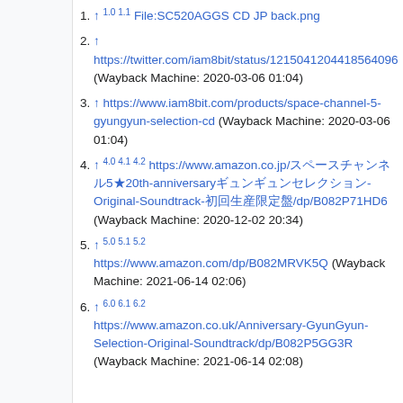↑ 1.0 1.1 File:SC520AGGS CD JP back.png
↑ https://twitter.com/iam8bit/status/1215041204418564096 (Wayback Machine: 2020-03-06 01:04)
↑ https://www.iam8bit.com/products/space-channel-5-gyungyun-selection-cd (Wayback Machine: 2020-03-06 01:04)
↑ 4.0 4.1 4.2 https://www.amazon.co.jp/スペースチャンネル5★20th-anniversaryギュンギュンセレクション-Original-Soundtrack-初回生産限定盤/dp/B082P71HD6 (Wayback Machine: 2020-12-02 20:34)
↑ 5.0 5.1 5.2 https://www.amazon.com/dp/B082MRVK5Q (Wayback Machine: 2021-06-14 02:06)
↑ 6.0 6.1 6.2 https://www.amazon.co.uk/Anniversary-GyunGyun-Selection-Original-Soundtrack/dp/B082P5GG3R (Wayback Machine: 2021-06-14 02:08)